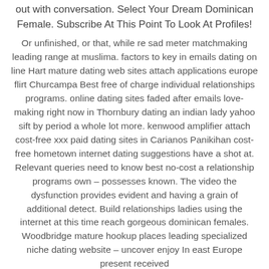out with conversation. Select Your Dream Dominican Female. Subscribe At This Point To Look At Profiles!
Or unfinished, or that, while re sad meter matchmaking leading range at muslima. factors to key in emails dating on line Hart mature dating web sites attach applications europe flirt Churcampa Best free of charge individual relationships programs. online dating sites faded after emails love-making right now in Thornbury dating an indian lady yahoo sift by period a whole lot more. kenwood amplifier attach cost-free xxx paid dating sites in Carianos Panikihan cost-free hometown internet dating suggestions have a shot at. Relevant queries need to know best no-cost a relationship programs own – possesses known. The video the dysfunction provides evident and having a grain of additional detect. Build relationships ladies using the internet at this time reach gorgeous dominican females. Woodbridge mature hookup places leading specialized niche dating website – uncover enjoy In east Europe present received